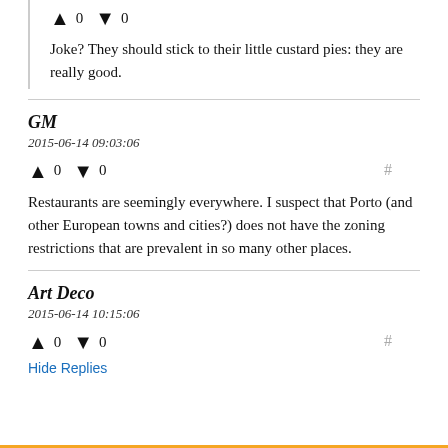↑ 0 ↓ 0
Joke? They should stick to their little custard pies: they are really good.
GM
2015-06-14 09:03:06
↑ 0 ↓ 0
Restaurants are seemingly everywhere. I suspect that Porto (and other European towns and cities?) does not have the zoning restrictions that are prevalent in so many other places.
Art Deco
2015-06-14 10:15:06
↑ 0 ↓ 0
Hide Replies